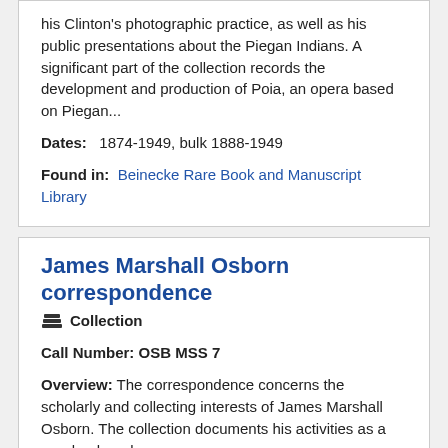his Clinton's photographic practice, as well as his public presentations about the Piegan Indians. A significant part of the collection records the development and production of Poia, an opera based on Piegan...
Dates: 1874-1949, bulk 1888-1949
Found in: Beinecke Rare Book and Manuscript Library
James Marshall Osborn correspondence
Collection
Call Number: OSB MSS 7
Overview: The correspondence concerns the scholarly and collecting interests of James Marshall Osborn. The collection documents his activities as a rare book and